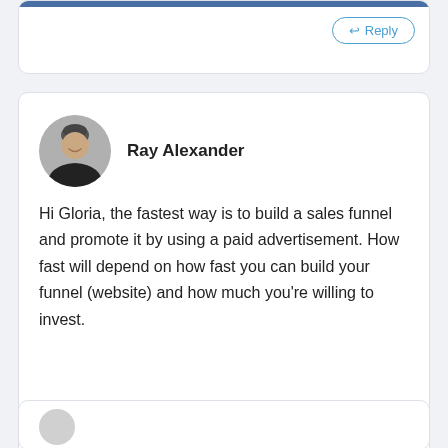[Figure (screenshot): Partial comment card at top of page with a Reply button]
[Figure (photo): Circular avatar photo of Ray Alexander, a person in a dark shirt]
Ray Alexander
Hi Gloria, the fastest way is to build a sales funnel and promote it by using a paid advertisement. How fast will depend on how fast you can build your funnel (website) and how much you're willing to invest.
[Figure (screenshot): Reply button with arrow icon at bottom right of main comment card]
[Figure (screenshot): Partial comment card at bottom of page]